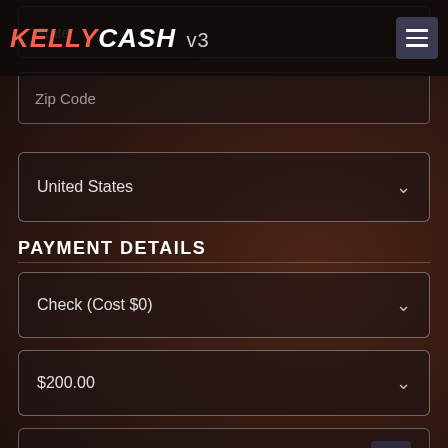[Figure (screenshot): Mobile app screenshot with dark blurred background]
KELLY CASH v3
State
Zip Code
United States
PAYMENT DETAILS
Check (Cost $0)
$200.00
Pay To
Address